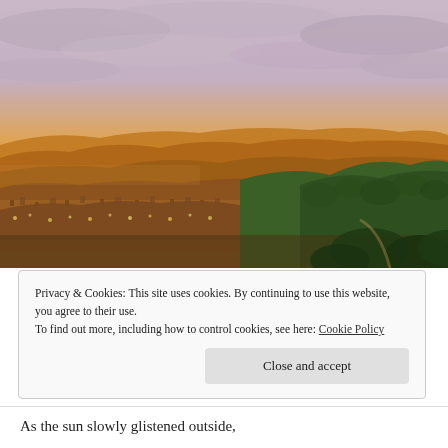[Figure (photo): Aerial landscape photograph showing a town nestled in rolling hills at golden sunset. Warm orange and yellow sky illuminates green forested hillside in the foreground-right, with the town spread across the valley below. Rolling fields stretch towards the horizon under a dramatic cloudy sky.]
Privacy & Cookies: This site uses cookies. By continuing to use this website, you agree to their use.
To find out more, including how to control cookies, see here: Cookie Policy
Close and accept
As the sun slowly glistened outside,